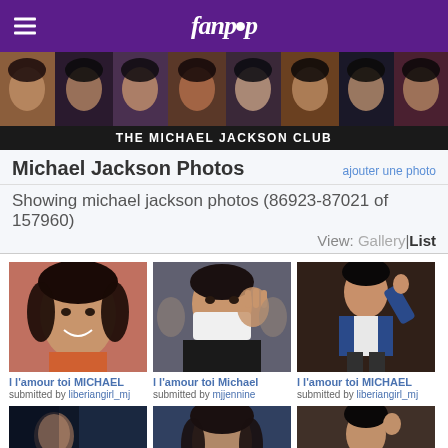fanpop
[Figure (photo): Michael Jackson photo collage banner strip showing multiple photos]
THE MICHAEL JACKSON CLUB
Michael Jackson Photos
ajouter une photo
Showing michael jackson photos (86923-87021 of 157960)
View: Gallery | List
[Figure (photo): Michael Jackson smiling portrait with curly hair]
l l'amour toi MICHAEL
submitted by liberiangirl_mj
[Figure (photo): Michael Jackson wearing mask surrounded by press]
l l'amour toi Michael
submitted by mjjennine
[Figure (photo): Michael Jackson performing on stage in blue jacket]
l l'amour toi MICHAEL
submitted by liberiangirl_mj
[Figure (photo): Michael Jackson in dark outfit partially visible]
[Figure (photo): Michael Jackson portrait looking to side]
[Figure (photo): Michael Jackson performing on stage]